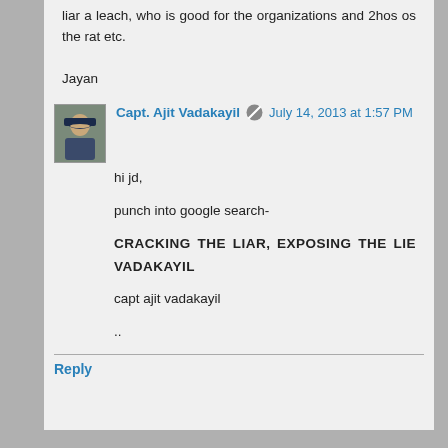liar a leach, who is good for the organizations and 2hos os the rat etc.

Jayan
Capt. Ajit Vadakayil · July 14, 2013 at 1:57 PM
hi jd,

punch into google search-

CRACKING THE LIAR, EXPOSING THE LIE VADAKAYIL

capt ajit vadakayil
..
Reply